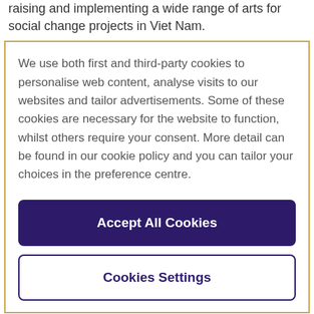raising and implementing a wide range of arts for social change projects in Viet Nam.
We use both first and third-party cookies to personalise web content, analyse visits to our websites and tailor advertisements. Some of these cookies are necessary for the website to function, whilst others require your consent. More detail can be found in our cookie policy and you can tailor your choices in the preference centre.
Accept All Cookies
Cookies Settings